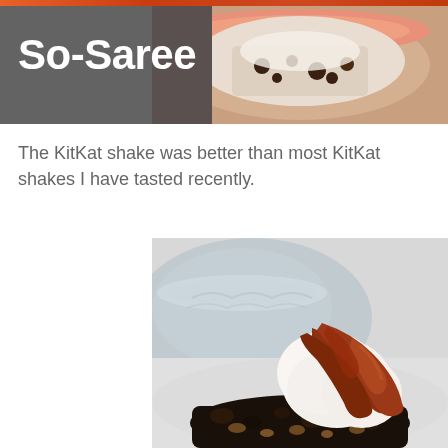So-Saree
The KitKat shake was better than most KitKat shakes I have tasted recently.
[Figure (photo): Close-up food photo of a dessert — ice cream scoop with chocolate/caramel sauce drizzled over it, sitting on dark crumbled cookie/brownie pieces, with a decorative white ceramic bowl blurred in the background]
[Figure (photo): Partial view of a food item in a pink/orange bowl visible in the top right header area]